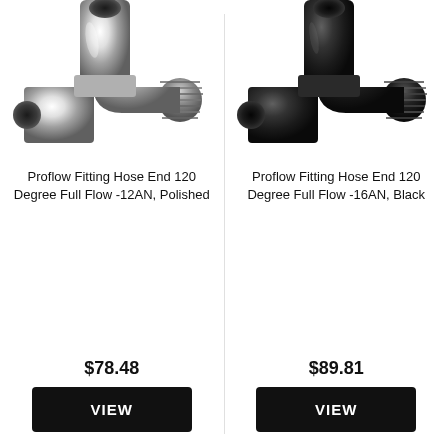[Figure (photo): Proflow 120 degree full flow hose end fitting -12AN in polished chrome finish, curved J-shape with threaded ends]
Proflow Fitting Hose End 120 Degree Full Flow -12AN, Polished
$78.48
VIEW
[Figure (photo): Proflow 120 degree full flow hose end fitting -16AN in black anodized finish, curved J-shape with threaded ends]
Proflow Fitting Hose End 120 Degree Full Flow -16AN, Black
$89.81
VIEW